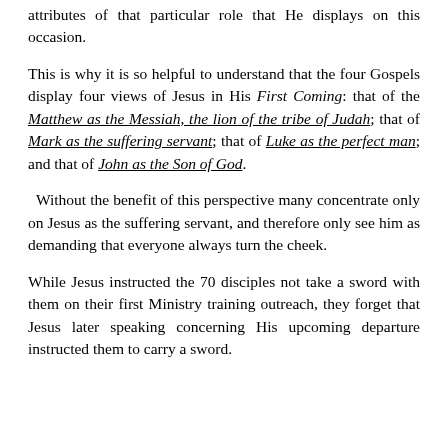attributes of that particular role that He displays on this occasion.
This is why it is so helpful to understand that the four Gospels display four views of Jesus in His First Coming: that of the Matthew as the Messiah, the lion of the tribe of Judah; that of Mark as the suffering servant; that of Luke as the perfect man; and that of John as the Son of God.
Without the benefit of this perspective many concentrate only on Jesus as the suffering servant, and therefore only see him as demanding that everyone always turn the cheek.
While Jesus instructed the 70 disciples not take a sword with them on their first Ministry training outreach, they forget that Jesus later speaking concerning His upcoming departure instructed them to carry a sword.